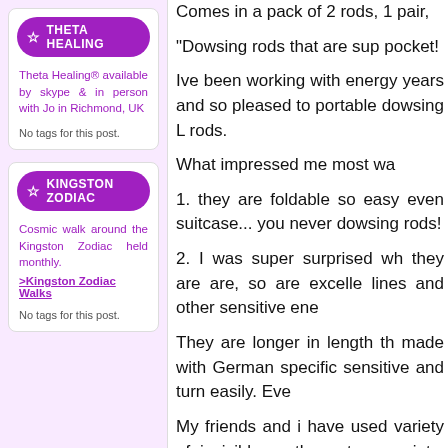THETA HEALING
Theta Healing® available by skype & in person with Jo in Richmond, UK
No tags for this post.
KINGSTON ZODIAC
Cosmic walk around the Kingston Zodiac held monthly.
>Kingston Zodiac Walks
No tags for this post.
Comes in a pack of 2 rods, 1 pair,
"Dowsing rods that are sup pocket!
Ive been working with energy years and so pleased to portable dowsing L rods.
What impressed me most wa
1. they are foldable so easy even suitcase... you never dowsing rods!
2. I was super surprised wh they are are, so are excelle lines and other sensitive ene
They are longer in length th made with German specific sensitive and turn easily. Eve
My friends and i have used variety of invisible earth e stress points, earth grids, c lost items and discover new